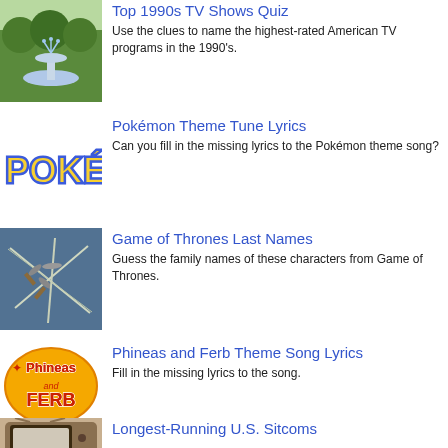[Figure (photo): Fountain in a park with trees]
Top 1990s TV Shows Quiz
Use the clues to name the highest-rated American TV programs in the 1990's.
[Figure (logo): Pokémon logo in yellow and blue]
Pokémon Theme Tune Lyrics
Can you fill in the missing lyrics to the Pokémon theme song?
[Figure (photo): Swords/fencing foils on blue background]
Game of Thrones Last Names
Guess the family names of these characters from Game of Thrones.
[Figure (logo): Phineas and Ferb logo on orange/yellow oval]
Phineas and Ferb Theme Song Lyrics
Fill in the missing lyrics to the song.
[Figure (photo): Old retro television set]
Longest-Running U.S. Sitcoms